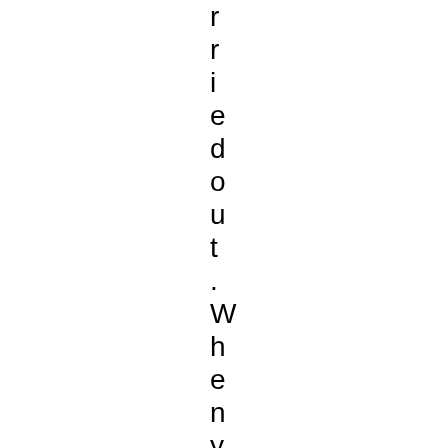r
r
i
e
d
o
u
t
.
W
h
e
n
y
o
u